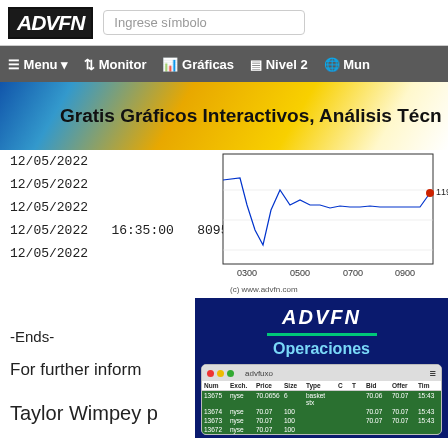ADVFN | Ingrese símbolo
Menu · Monitor · Gráficas · Nivel 2 · Mun
[Figure (screenshot): ADVFN banner: Gratis Gráficos Interactivos, Análisis Técn]
[Figure (line-chart): Intraday price chart with x-axis times 0300, 0500, 0700, 0900 and price level 119 marked. (c) www.advfn.com]
| 12/05/2022 |  |  |  |
| 12/05/2022 |  |  |  |
| 12/05/2022 |  |  |  |
| 12/05/2022 | 16:35:00 | 80959 | 123.80 |
| 12/05/2022 |  |  |  |
-Ends-
For further inform
Taylor Wimpey p
[Figure (screenshot): ADVFN Operaciones panel showing a trading table with columns: Num, Exch., Price, Size, Type, C, T, Bid, Offer, Tim. Rows show trades: 13675 nyse 70.0656 basket stx 70.06 70.07 15:43; 13674 nyse 70.07 100 70.07 70.07 15:43; 13673 nyse 70.07 100 70.07 70.07 15:43]